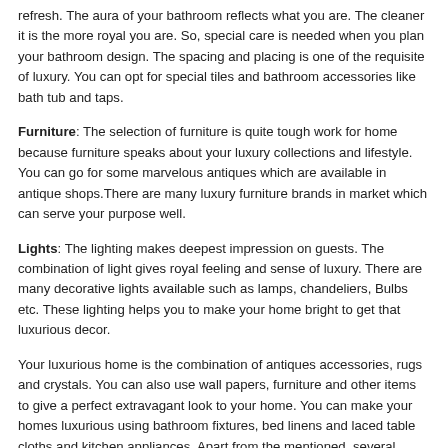refresh. The aura of your bathroom reflects what you are. The cleaner it is the more royal you are. So, special care is needed when you plan your bathroom design. The spacing and placing is one of the requisite of luxury. You can opt for special tiles and bathroom accessories like bath tub and taps.
Furniture: The selection of furniture is quite tough work for home because furniture speaks about your luxury collections and lifestyle. You can go for some marvelous antiques which are available in antique shops.There are many luxury furniture brands in market which can serve your purpose well.
Lights: The lighting makes deepest impression on guests. The combination of light gives royal feeling and sense of luxury. There are many decorative lights available such as lamps, chandeliers, Bulbs etc. These lighting helps you to make your home bright to get that luxurious decor.
Your luxurious home is the combination of antiques accessories, rugs and crystals. You can also use wall papers, furniture and other items to give a perfect extravagant look to your home. You can make your homes luxurious using bathroom fixtures, bed linens and laced table cloths and kitchen appliances. Apart from the mentioned, several types of materials